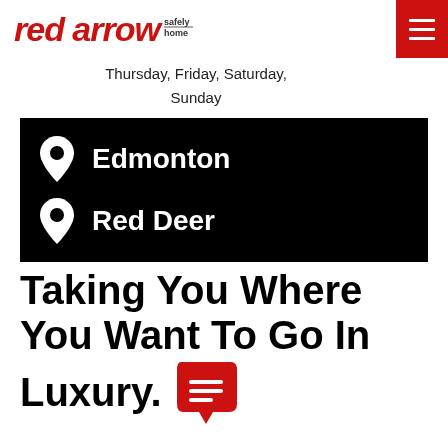Red Arrow — safely home
Thursday, Friday, Saturday, Sunday
[Figure (infographic): Black box with two location pin icons and city names: Edmonton and Red Deer]
Taking You Where You Want To Go In Luxury.